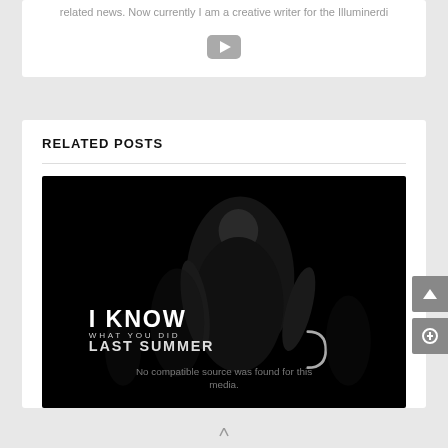related news. Now currently I am a creative writer for the Illuminerdi
[Figure (other): YouTube play button icon (grey rounded rectangle with triangle)]
RELATED POSTS
[Figure (photo): Movie promotional image for 'I Know What You Did Last Summer' - dark background with a hooded figure holding a hook, with text overlay reading 'I KNOW WHAT YOU DID LAST SUMMER' and a message 'No compatible source was found for this media']